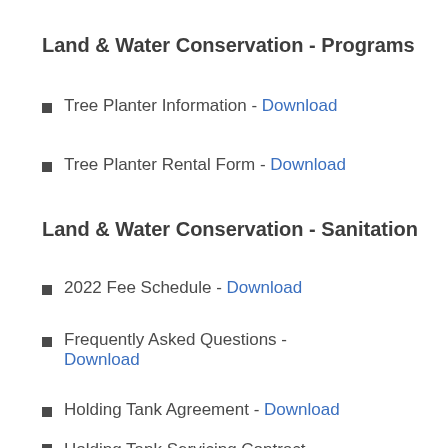Land & Water Conservation - Programs
Tree Planter Information - Download
Tree Planter Rental Form - Download
Land & Water Conservation - Sanitation
2022 Fee Schedule - Download
Frequently Asked Questions - Download
Holding Tank Agreement - Download
Holding Tank Servicing Contract